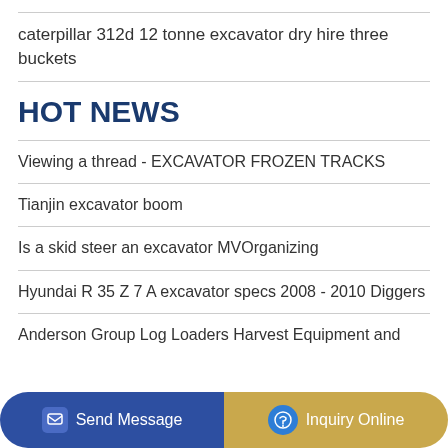caterpillar 312d 12 tonne excavator dry hire three buckets
HOT NEWS
Viewing a thread - EXCAVATOR FROZEN TRACKS
Tianjin excavator boom
Is a skid steer an excavator MVOrganizing
Hyundai R 35 Z 7 A excavator specs 2008 - 2010 Diggers
Anderson Group Log Loaders Harvest Equipment and
Send Message | Inquiry Online